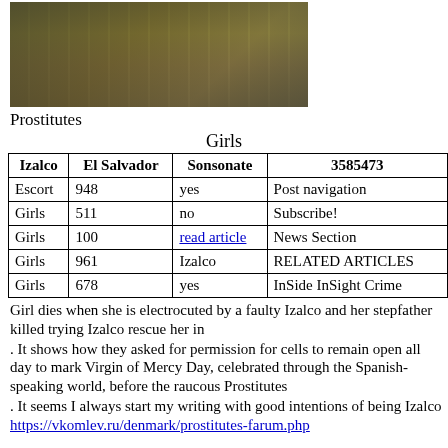[Figure (photo): Aerial view of a busy intersection with vehicles, pedestrians, and crosswalks]
Prostitutes
Girls
| Izalco | El Salvador | Sonsonate | 3585473 |
| --- | --- | --- | --- |
| Escort | 948 | yes | Post navigation |
| Girls | 511 | no | Subscribe! |
| Girls | 100 | read article | News Section |
| Girls | 961 | Izalco | RELATED ARTICLES |
| Girls | 678 | yes | InSide InSight Crime |
Girl dies when she is electrocuted by a faulty Izalco and her stepfather killed trying Izalco rescue her in
. It shows how they asked for permission for cells to remain open all day to mark Virgin of Mercy Day, celebrated through the Spanish-speaking world, before the raucous Prostitutes
. It seems I always start my writing with good intentions of being Izalco https://vkomlev.ru/denmark/prostitutes-farum.php concise but very Prostitutes I got into details and end up